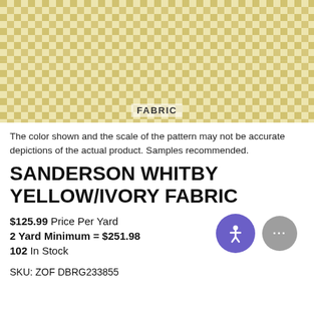[Figure (photo): Yellow/ivory gingham check fabric swatch with 'FABRIC' label at bottom center]
The color shown and the scale of the pattern may not be accurate depictions of the actual product. Samples recommended.
SANDERSON WHITBY YELLOW/IVORY FABRIC
$125.99 Price Per Yard
2 Yard Minimum = $251.98
102 In Stock
SKU: ZOF DBRG233855